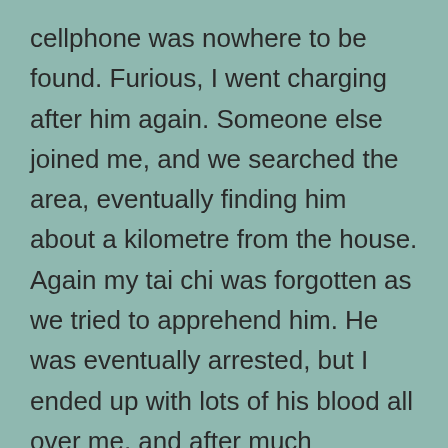cellphone was nowhere to be found. Furious, I went charging after him again. Someone else joined me, and we searched the area, eventually finding him about a kilometre from the house. Again my tai chi was forgotten as we tried to apprehend him. He was eventually arrested, but I ended up with lots of his blood all over me, and after much discussion decided to take anti-retrovirals as a precaution. They have hideous side-effects. I could probably drink 2 litres of whiskey every evening and feel better the next morning than I did when taking those things. I'm not a fan of pharmaceuticals